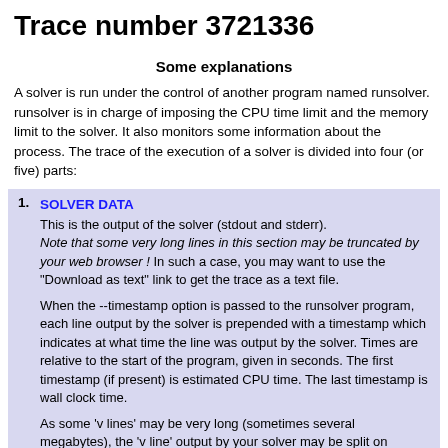Trace number 3721336
Some explanations
A solver is run under the control of another program named runsolver. runsolver is in charge of imposing the CPU time limit and the memory limit to the solver. It also monitors some information about the process. The trace of the execution of a solver is divided into four (or five) parts:
SOLVER DATA
This is the output of the solver (stdout and stderr).
Note that some very long lines in this section may be truncated by your web browser ! In such a case, you may want to use the "Download as text" link to get the trace as a text file.

When the --timestamp option is passed to the runsolver program, each line output by the solver is prepended with a timestamp which indicates at what time the line was output by the solver. Times are relative to the start of the program, given in seconds. The first timestamp (if present) is estimated CPU time. The last timestamp is wall clock time.

As some 'v lines' may be very long (sometimes several megabytes), the 'v line' output by your solver may be split on several lines to help limit the size of the trace recorded in the database. In any case, the exact output of your solver is preserved in a trace file.
VERIFIER DATA
The output of the solver is piped to a verifier program which will